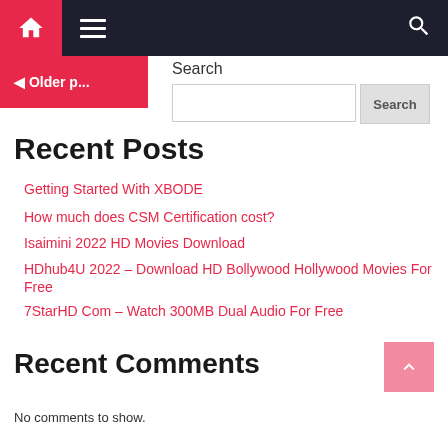Navigation bar with home icon, menu icon, search icon
◄ Older p...
Search
Recent Posts
Getting Started With XBODE
How much does CSM Certification cost?
Isaimini 2022 HD Movies Download
HDhub4U 2022 – Download HD Bollywood Hollywood Movies For Free
7StarHD Com – Watch 300MB Dual Audio For Free
Recent Comments
No comments to show.